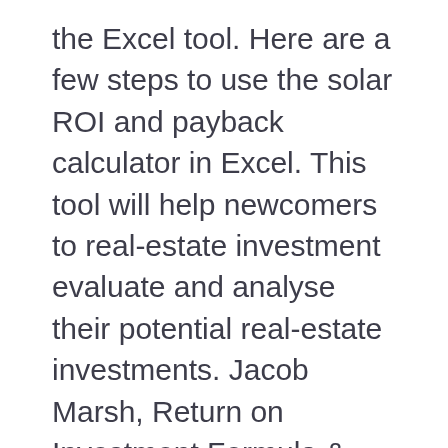the Excel tool. Here are a few steps to use the solar ROI and payback calculator in Excel. This tool will help newcomers to real-estate investment evaluate and analyse their potential real-estate investments. Jacob Marsh, Return on Investment Formula & Example The basic formula for calculating ROI is as follows: ROI (%) = [ (GI - CI) / CI ] × 100 Where, GI is the gain from investment, CI is the cost of investment. ROI = 180%; thus for every $1.00 invested, $1.80 is returned after the costs of the project management training program are recovered. If you don't have the application installed, download it to your computer. Marketing ROI Calculator Excel This marketing